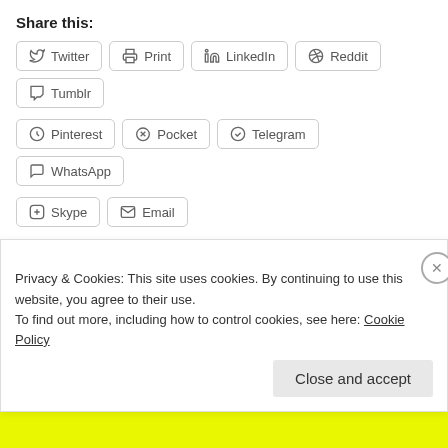Share this:
Twitter
Print
LinkedIn
Reddit
Tumblr
Pinterest
Pocket
Telegram
WhatsApp
Skype
Email
[Figure (other): Like button with star icon and blogger avatar thumbnail]
One blogger likes this.
Related
Without Prejudice
Without Prejudice
Privacy & Cookies: This site uses cookies. By continuing to use this website, you agree to their use. To find out more, including how to control cookies, see here: Cookie Policy
Close and accept